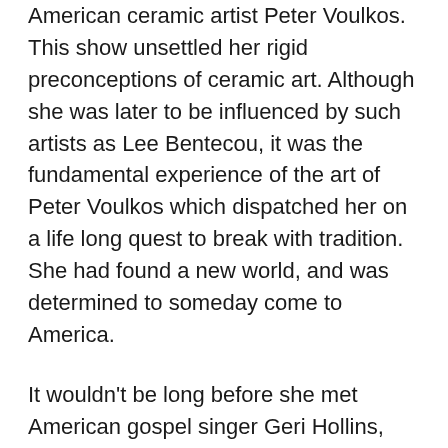American ceramic artist Peter Voulkos. This show unsettled her rigid preconceptions of ceramic art. Although she was later to be influenced by such artists as Lee Bentecou, it was the fundamental experience of the art of Peter Voulkos which dispatched her on a life long quest to break with tradition. She had found a new world, and was determined to someday come to America.
It wouldn't be long before she met American gospel singer Geri Hollins, who was visiting Japan, and the two became friends. As it turned out, Ms. Hollins was looking for a ceramics teacher to teach African American children in a private school. Akiko accepted the offer, and was soon boarding a plane to historic Hampton Virginia, where she would